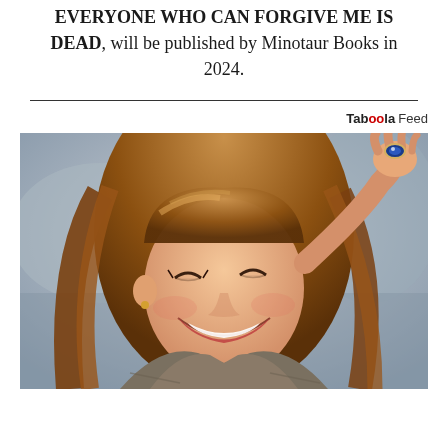EVERYONE WHO CAN FORGIVE ME IS DEAD, will be published by Minotaur Books in 2024.
[Figure (photo): A laughing woman with long brown hair raising her hand showing a large sapphire ring, wearing a grey checked jacket, photographed outdoors with a blurred background.]
Taboola Feed